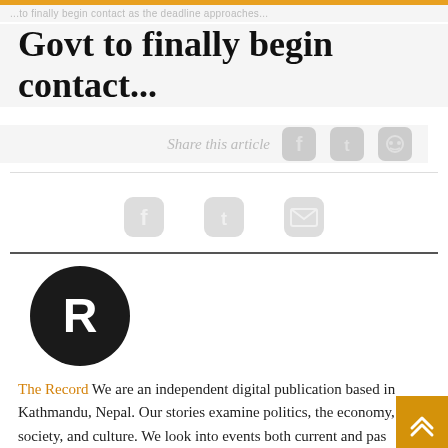...title of the parent article/story...
Govt to finally begin contact...
Share this article
[Figure (screenshot): Social share icons: Facebook, Twitter, Reddit in grey]
[Figure (screenshot): Social share icons row 2: Facebook, Twitter, Email in light grey]
[Figure (logo): Black circle with white letter R - The Record logo]
The Record  We are an independent digital publication based in Kathmandu, Nepal. Our stories examine politics, the economy, society, and culture. We look into events both current and past, offering depth, analysis, and perspective. Explore our features...